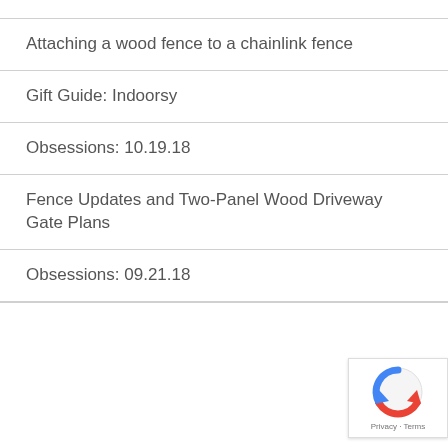Attaching a wood fence to a chainlink fence
Gift Guide: Indoorsy
Obsessions: 10.19.18
Fence Updates and Two-Panel Wood Driveway Gate Plans
Obsessions: 09.21.18
[Figure (logo): reCAPTCHA badge with Google logo and Privacy - Terms text]